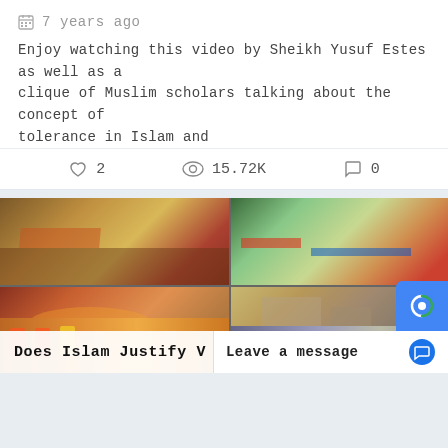7 years ago
Enjoy watching this video by Sheikh Yusuf Estes as well as a clique of Muslim scholars talking about the concept of tolerance in Islam and
♡ 2   👁 15.72K   ○ 0
[Figure (photo): Grid of news/event photos showing destruction, crowds, and street scenes]
Does Islam Justify V
Leave a message